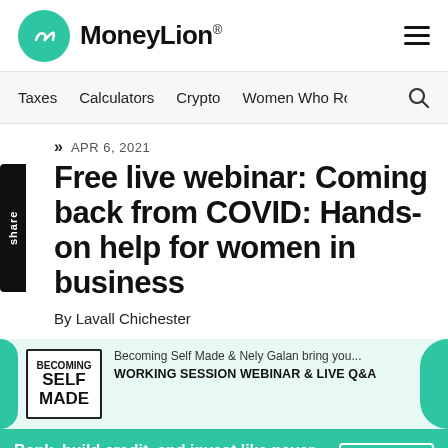MoneyLion® — Taxes · Calculators · Crypto · Women Who Ro:
APR 6, 2021
Free live webinar: Coming back from COVID: Hands-on help for women in business
By Lavall Chichester
[Figure (infographic): Becoming Self Made promo card with teal accents showing 'Becoming Self Made & Nely Galan bring you... WORKING SESSION WEBINAR & LIVE Q&A']
Bank, build credit, and invest like never before
Sign up